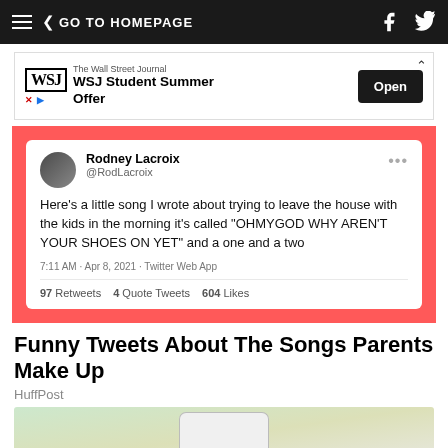GO TO HOMEPAGE
[Figure (screenshot): WSJ Student Summer Offer advertisement banner with Open button]
[Figure (screenshot): Tweet by Rodney Lacroix (@RodLacroix): Here's a little song I wrote about trying to leave the house with the kids in the morning it's called "OHMYGOD WHY AREN'T YOUR SHOES ON YET" and a one and a two. 7:11 AM · Apr 8, 2021 · Twitter Web App. 97 Retweets 4 Quote Tweets 604 Likes]
Funny Tweets About The Songs Parents Make Up
HuffPost
[Figure (photo): Partial image of a smartphone showing a video call screen, blurred background]